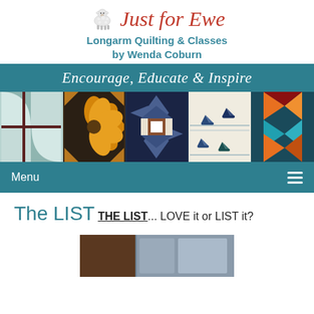[Figure (logo): Just for Ewe logo with sheep illustration and script text, subtitle 'Longarm Quilting & Classes by Wenda Coburn']
[Figure (illustration): Banner with teal background showing 'Encourage, Educate & Inspire' in script, below which is a strip of 5 quilt block photos]
[Figure (screenshot): Navigation bar with 'Menu' text and hamburger icon on teal background]
The LIST
THE LIST... LOVE it or LIST it?
[Figure (photo): Partial photo of a quilt, mostly obscured at bottom of page]